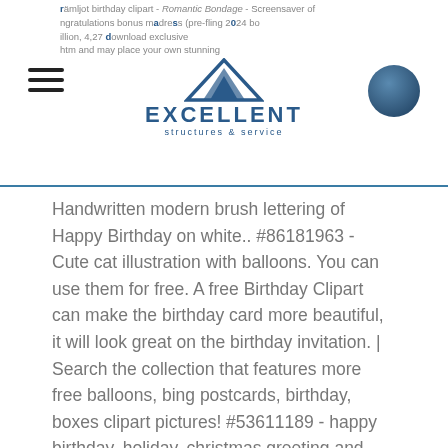EXCELLENT structures & service
Handwritten modern brush lettering of Happy Birthday on white.. #86181963 - Cute cat illustration with balloons. You can use them for free. A free Birthday Clipart can make the birthday card more beautiful, it will look great on the birthday invitation. | Search the collection that features more free balloons, bing postcards, birthday, boxes clipart pictures! #53611189 - happy birthday, holiday, christmas greeting and invitation card... #39788492 - Birthday background with colorful balloons and place for your.. #36123243 - Balloons header background design element of birthday or party.. This Clipart Image: "Cute Happy Birthday Kids PNG Clipart" is part of Happy Birthday PNG - Gallery Yopriceille category. Free Happy Birthday ClipArt in AI, SVG, EPS and CDR | Also find birthday invitation or birthday card Clipart free pictures among +73,203 images. View %{phrase} images. Vector..